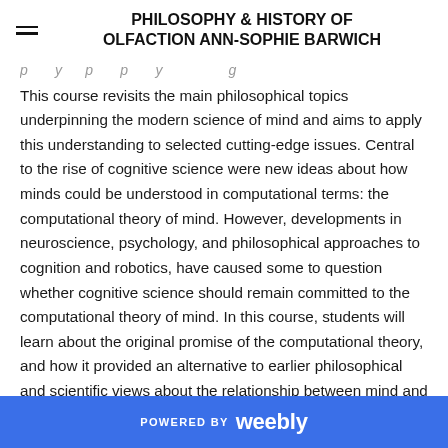PHILOSOPHY & HISTORY OF OLFACTION ANN-SOPHIE BARWICH
This course revisits the main philosophical topics underpinning the modern science of mind and aims to apply this understanding to selected cutting-edge issues. Central to the rise of cognitive science were new ideas about how minds could be understood in computational terms: the computational theory of mind. However, developments in neuroscience, psychology, and philosophical approaches to cognition and robotics, have caused some to question whether cognitive science should remain committed to the computational theory of mind. In this course, students will learn about the original promise of the computational theory, and how it provided an alternative to earlier philosophical and scientific views about the relationship between mind and body. We will go on to debate whether embodied and social processes amount to an overthrow of the computational paradigm.
POWERED BY weebly